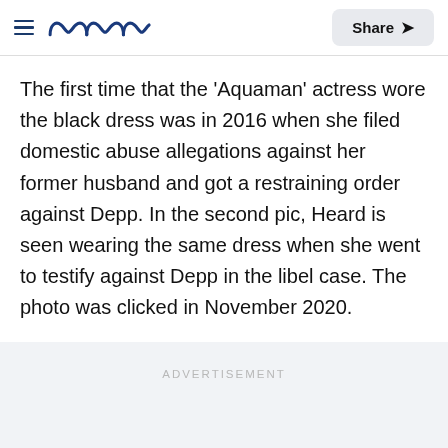Meaww — Share
The first time that the 'Aquaman' actress wore the black dress was in 2016 when she filed domestic abuse allegations against her former husband and got a restraining order against Depp. In the second pic, Heard is seen wearing the same dress when she went to testify against Depp in the libel case. The photo was clicked in November 2020.
ADVERTISEMENT